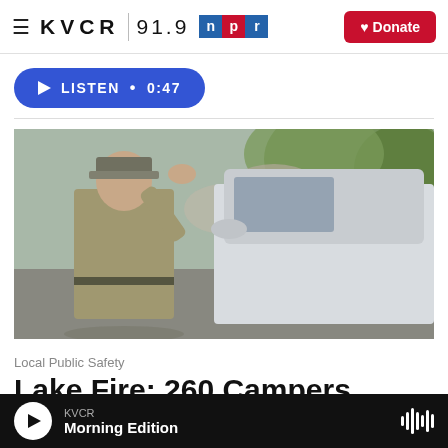KVCR 91.9 NPR — Donate
LISTEN • 0:47
[Figure (photo): A park ranger or officer in a tan/grey uniform gesturing with one hand raised toward their head, standing next to a white car, with trees and rocky terrain in the background.]
Local Public Safety
Lake Fire: 260 Campers
KVCR — Morning Edition